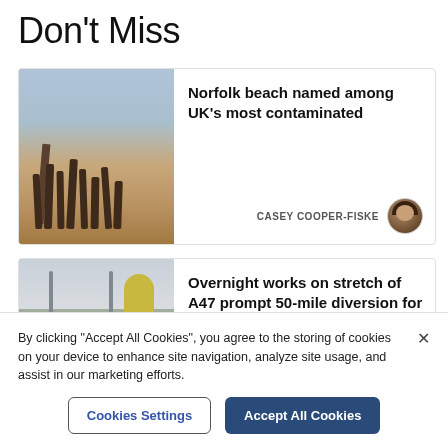Don't Miss
[Figure (photo): Beach scene with wooden posts/groynes on sandy shore, sea in background]
Norfolk beach named among UK's most contaminated
CASEY COOPER-FISKE
[Figure (photo): Road scene with cars queued, yellow tree and street lights in background]
Overnight works on stretch of A47 prompt 50-mile diversion for two weeks
By clicking "Accept All Cookies", you agree to the storing of cookies on your device to enhance site navigation, analyze site usage, and assist in our marketing efforts.